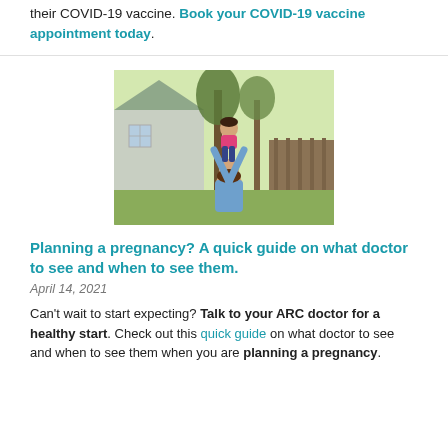their COVID-19 vaccine. Book your COVID-19 vaccine appointment today.
[Figure (photo): A woman lifting a young child in a pink shirt overhead in an outdoor backyard setting with trees and a fence in the background.]
Planning a pregnancy? A quick guide on what doctor to see and when to see them.
April 14, 2021
Can't wait to start expecting? Talk to your ARC doctor for a healthy start. Check out this quick guide on what doctor to see and when to see them when you are planning a pregnancy.